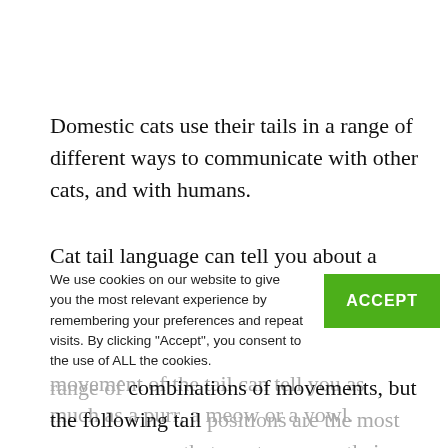Domestic cats use their tails in a range of different ways to communicate with other cats, and with humans.
Cat tail language can tell you about a cat's moods, their emotions, and their intentions, allowing you to understand and predict a cat's behavior. The movement of the tail can tell you as much as a purr, a meow or a yowl.
We use cookies on our website to give you the most relevant experience by remembering your preferences and repeat visits. By clicking "Accept", you consent to the use of ALL the cookies.
A tail can move in an almost infinite range of combinations of movements, but the following tail positions are the most common ways that a cat may use their tail to communicate.